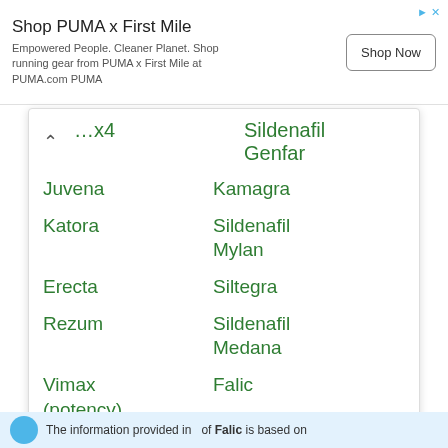[Figure (screenshot): Advertisement banner for PUMA x First Mile with Shop Now button]
...x4 | Sildenafil Genfar
Juvena | Kamagra
Katora | Sildenafil Mylan
Erecta | Siltegra
Rezum | Sildenafil Medana
Vimax (potency) | Falic
Medovigor | Neo-Gra
The information provided in... of Falic is based on